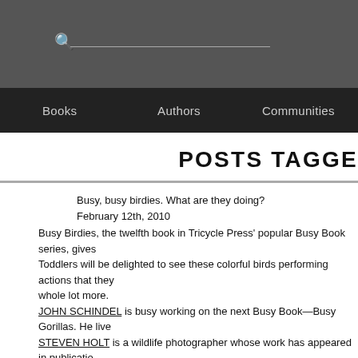Books   Authors   Communities
POSTS TAGGE
Busy, busy birdies. What are they doing?
February 12th, 2010
Busy Birdies, the twelfth book in Tricycle Press' popular Busy Book series, gives
Toddlers will be delighted to see these colorful birds performing actions that they
whole lot more.
JOHN SCHINDEL is busy working on the next Busy Book—Busy Gorillas. He live
STEVEN HOLT is a wildlife photographer whose work has appeared in publicatio
York Times. He lives in Coos Bay, Oregon.
Busy Birdi
by John Schindel • photogra
$6.99 BD • 978-1-58
Full-color photo
7 x 5 inches • 20 pages
On sale: 4/1